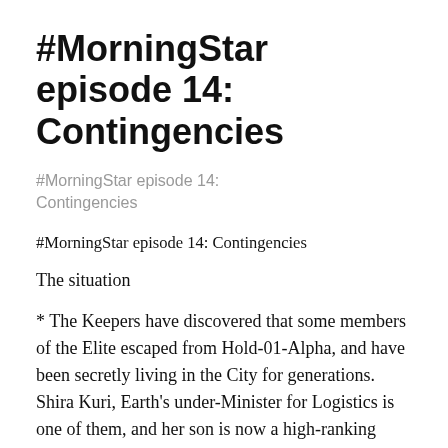#MorningStar episode 14: Contingencies
#MorningStar episode 14: Contingencies
#MorningStar episode 14: Contingencies
The situation
* The Keepers have discovered that some members of the Elite escaped from Hold-01-Alpha, and have been secretly living in the City for generations. Shira Kuri, Earth's under-Minister for Logistics is one of them, and her son is now a high-ranking Puppeteer banker.